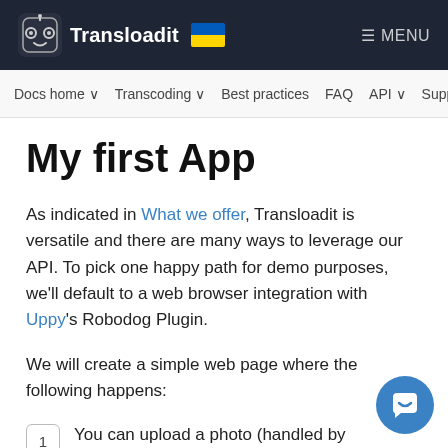Transloadit  ☰ MENU
Docs home ∨  Transcoding ∨  Best practices  FAQ  API ∨  Suppo
My first App
As indicated in What we offer, Transloadit is versatile and there are many ways to leverage our API. To pick one happy path for demo purposes, we'll default to a web browser integration with Uppy's Robodog Plugin.
We will create a simple web page where the following happens:
You can upload a photo (handled by Transloadit the /upload/handle Robot).
Transloadit will then automatically detect a face and